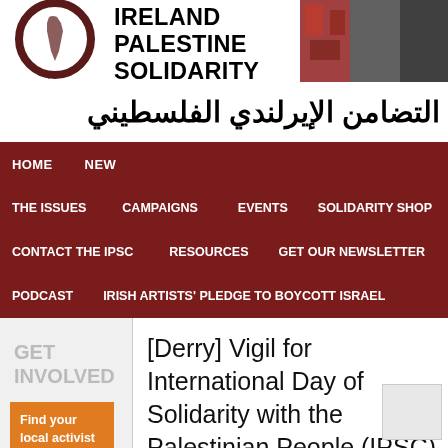[Figure (logo): IPSC logo — circular dark border with map of Palestine inside, text 'i.p.s.c.' at bottom]
IRELAND PALESTINE SOLIDARITY CAMPAIGN
التضامن الإيرلندي الفلسطيني
HOME | NEWS | THE ISSUES | CAMPAIGNS | EVENTS | SOLIDARITY SHOP | CONTACT THE IPSC | RESOURCES | GET OUR NEWSLETTER | PODCAST | IRISH ARTISTS' PLEDGE TO BOYCOTT ISRAEL
GET INVOLVED
Find your local activist group →
Subscribe
[Derry] Vigil for International Day of Solidarity with the Palestinian People (IPSC)